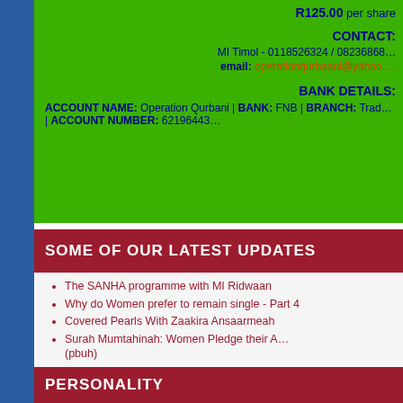R125.00 per share
CONTACT:
MI Timol - 0118526324 / 08236868...
email: operationqurbaani@yahoo....
BANK DETAILS:
ACCOUNT NAME: Operation Qurbani | BANK: FNB | BRANCH: Trade...
| ACCOUNT NUMBER: 62196443...
SOME OF OUR LATEST UPDATES
The SANHA programme with MI Ridwaan
Why do Women prefer to remain single - Part 4
Covered Pearls With Zaakira Ansaarmeah
Surah Mumtahinah: Women Pledge their A... (pbuh)
PERSONALITY